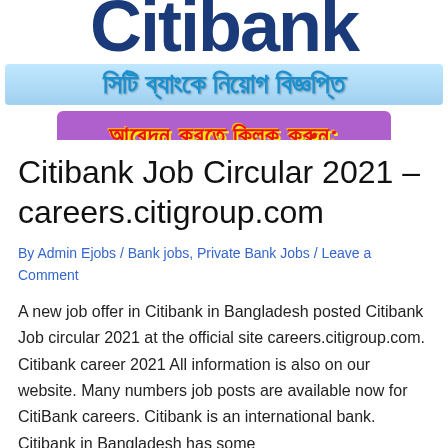[Figure (logo): Citibank logo text in dark navy blue, large bold font]
[Figure (infographic): Bengali text 'সিটি ব্যাংকে নিয়োগ বিজ্ঞপ্তি' on blue gradient background]
[Figure (infographic): Purple button with red Bengali text 'আবেদন করতে ক্লিক করুন:']
Citibank Job Circular 2021 – careers.citigroup.com
By Admin Ejobs / Bank jobs, Private Bank Jobs / Leave a Comment
A new job offer in Citibank in Bangladesh posted Citibank Job circular 2021 at the official site careers.citigroup.com. Citibank career 2021 All information is also on our website. Many numbers job posts are available now for CitiBank careers. Citibank is an international bank. Citibank in Bangladesh has some government and non government jobs.